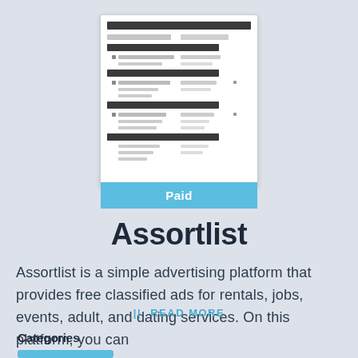[Figure (screenshot): Screenshot thumbnail of the Assortlist website interface showing a table/list layout with dark header rows and columnar data]
Paid
Assortlist
Assortlist is a simple advertising platform that provides free classified ads for rentals, jobs, events, adult, and dating services. On this platform, you can
READ MORE
Categories